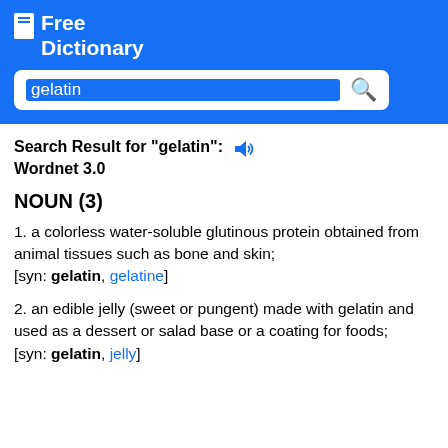Free Dictionary
gelatin [search bar]
Search Result for "gelatin": Wordnet 3.0
NOUN (3)
1. a colorless water-soluble glutinous protein obtained from animal tissues such as bone and skin; [syn: gelatin, gelatine]
2. an edible jelly (sweet or pungent) made with gelatin and used as a dessert or salad base or a coating for foods; [syn: gelatin, jelly]